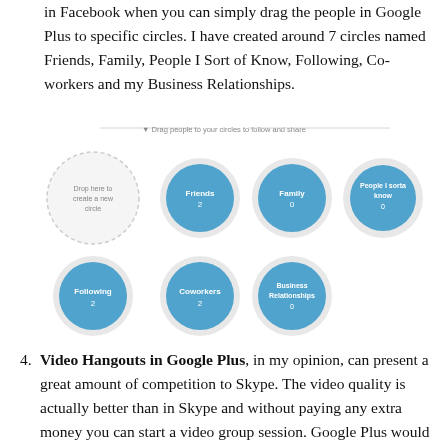in Facebook when you can simply drag the people in Google Plus to specific circles. I have created around 7 circles named Friends, Family, People I Sort of Know, Following, Co-workers and my Business Relationships.
[Figure (screenshot): Screenshot of Google Plus circles interface showing: a dashed 'Drop here to create a new circle' circle, and filled blue circles labeled Friends 2, Family 0, People I Sort of Know 0, Following 2, Coworkers 2, Business Relationships 0. Above the circles is a drag instruction: 'Drag people to your circles to follow and share'.]
4. Video Hangouts in Google Plus, in my opinion, can present a great amount of competition to Skype. The video quality is actually better than in Skype and without paying any extra money you can start a video group session. Google Plus would simply inform the